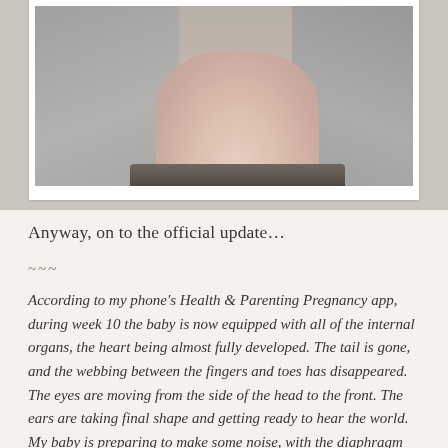[Figure (photo): A close-up photograph of a pregnant belly, partially cropped, showing a person wearing a grey shirt lifting it slightly to reveal a bare bump. The image has a white polaroid-style border/frame.]
Anyway, on to the official update...
~~~
According to my phone's Health & Parenting Pregnancy app, during week 10 the baby is now equipped with all of the internal organs, the heart being almost fully developed. The tail is gone, and the webbing between the fingers and toes has disappeared. The eyes are moving from the side of the head to the front. The ears are taking final shape and getting ready to hear the world. My baby is preparing to make some noise, with the diaphragm emerging this week. The baby is about the size of a date. During week 11, the baby is now the size of a fig or small lime, and is busy moving around inside my